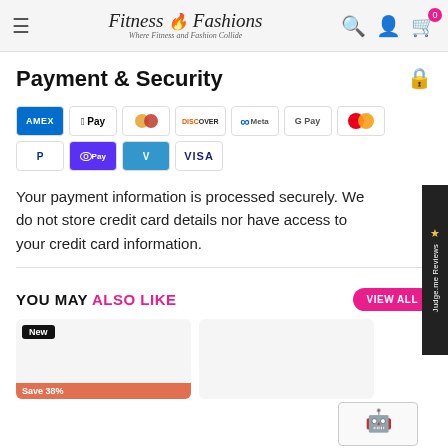Fitness & Fashions — Where Fitness and Fashion Collide
Payment & Security
[Figure (other): Payment method icons: American Express, Apple Pay, Diners Club, Discover, Meta Pay, Google Pay, Mastercard, PayPal, O Pay, Venmo, Visa]
Your payment information is processed securely. We do not store credit card details nor have access to your credit card information.
YOU MAY ALSO LIKE
[Figure (other): Product card with New tag and Save 38% label]